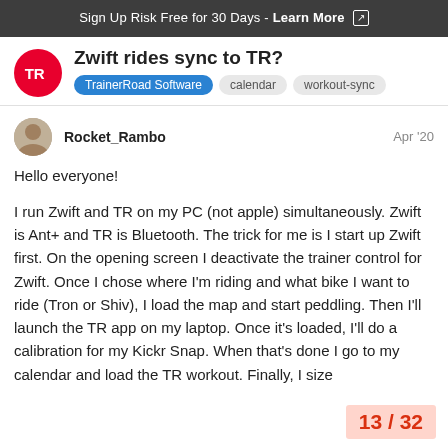Sign Up Risk Free for 30 Days - Learn More
Zwift rides sync to TR?
TrainerRoad Software   calendar   workout-sync
Rocket_Rambo   Apr '20
Hello everyone!

I run Zwift and TR on my PC (not apple) simultaneously. Zwift is Ant+ and TR is Bluetooth. The trick for me is I start up Zwift first. On the opening screen I deactivate the trainer control for Zwift. Once I chose where I'm riding and what bike I want to ride (Tron or Shiv), I load the map and start peddling. Then I'll launch the TR app on my laptop. Once it's loaded, I'll do a calibration for my Kickr Snap. When that's done I go to my calendar and load the TR workout. Finally, I size TR and Zwift and...
13 / 32